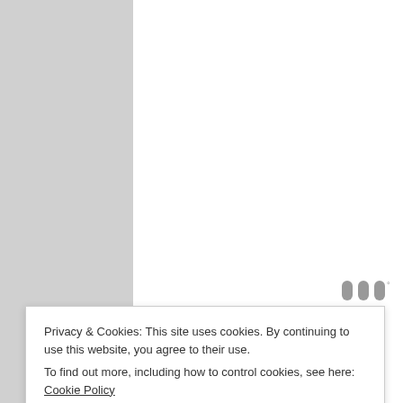[Figure (other): Blank white document page area with gray watermark/logo icon at lower right]
Study's authors served the same amounts of food
participated in the training that were observed to
Privacy & Cookies: This site uses cookies. By continuing to use this website, you agree to their use. To find out more, including how to control cookies, see here: Cookie Policy
Close and accept